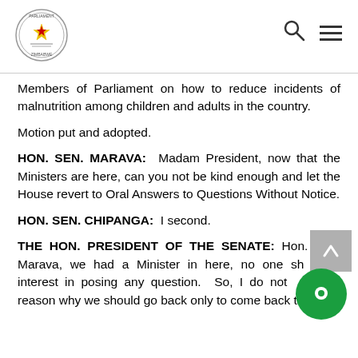Parliament of Zimbabwe
Members of Parliament on how to reduce incidents of malnutrition among children and adults in the country.
Motion put and adopted.
HON. SEN. MARAVA:  Madam President, now that the Ministers are here, can you not be kind enough and let the House revert to Oral Answers to Questions Without Notice.
HON. SEN. CHIPANGA:  I second.
THE HON. PRESIDENT OF THE SENATE:  Hon. Sen. Marava, we had a Minister in here, no one showed interest in posing any question.  So, I do not see any reason why we should go back only to come back to